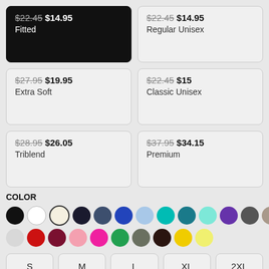$22.45 $14.95 Fitted
$22.45 $14.95 Regular Unisex
$27.95 $19.95 Extra Soft
$22.45 $15 Classic Unisex
$28.95 $26.05 Triblend
$37.95 $34.15 Premium
COLOR
[Figure (infographic): Color swatches: black, white, cream/outline, dark navy, slate blue, royal blue, light blue, teal, dark teal, light cyan, purple, dark gray, khaki/tan (row 1); light gray, red, dark red/maroon, light pink, hot pink, green, olive, dark brown, yellow, light yellow (row 2)]
S  M  L  XL  2XL
The fitted t-shirt is an everyday staple. Features 100% preshrunk